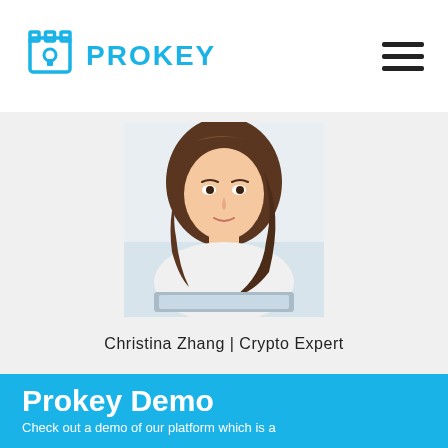PROKEY
[Figure (photo): Portrait photo of Christina Zhang, a woman with long brown hair wearing a white top, looking upward, with a laptop visible at the bottom of the frame. Background is light/white.]
Christina Zhang | Crypto Expert
Prokey Demo
Check out a demo of our platform which is a